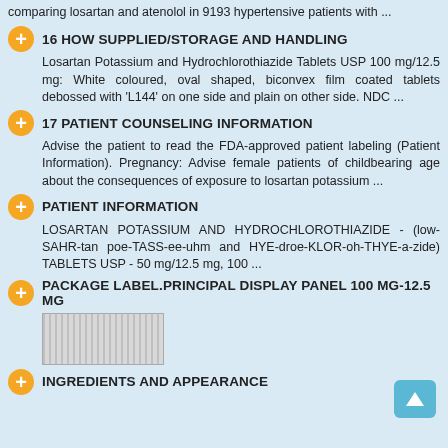comparing losartan and atenolol in 9193 hypertensive patients with ...
16 HOW SUPPLIED/STORAGE AND HANDLING
Losartan Potassium and Hydrochlorothiazide Tablets USP 100 mg/12.5 mg: White coloured, oval shaped, biconvex film coated tablets debossed with ‘L144’ on one side and plain on other side. NDC ...
17 PATIENT COUNSELING INFORMATION
Advise the patient to read the FDA-approved patient labeling (Patient Information). Pregnancy: Advise female patients of childbearing age about the consequences of exposure to losartan potassium ...
PATIENT INFORMATION
LOSARTAN POTASSIUM AND HYDROCHLOROTHIAZIDE - (low-SAHR-tan poe-TASS-ee-uhm and HYE-droe-KLOR-oh-THYE-a-zide) TABLETS USP - 50 mg/12.5 mg, 100 ...
PACKAGE LABEL.PRINCIPAL DISPLAY PANEL 100 MG-12.5 MG
[Figure (photo): Package label image for Losartan Potassium and Hydrochlorothiazide Tablets]
INGREDIENTS AND APPEARANCE